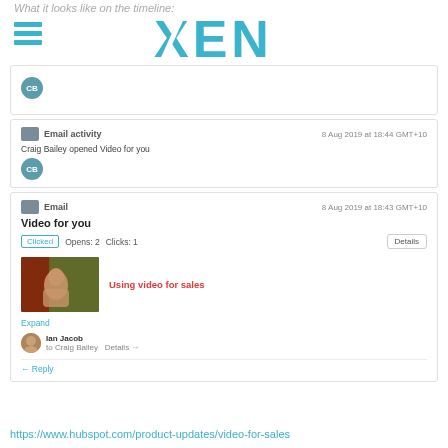What it looks like on the timeline:
[Figure (logo): XEN logo in teal/cyan with hamburger menu icon on left]
[Figure (screenshot): HubSpot CRM timeline screenshot showing email activity and email cards for Craig Bailey]
https://www.hubspot.com/product-updates/video-for-sales